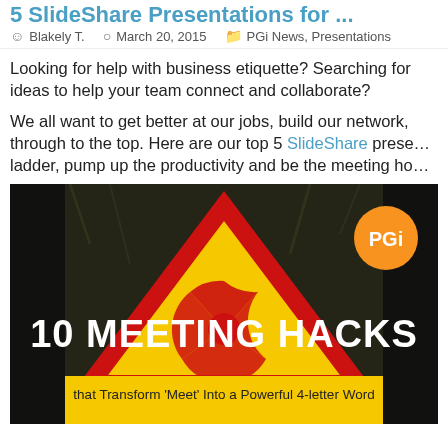5 SlideShare Presentations for ...
Blakely T.   March 20, 2015   PGi News, Presentations
Looking for help with business etiquette? Searching for ideas to help your team connect and collaborate?
We all want to get better at our jobs, build our network, through to the top. Here are our top 5 SlideShare presentations to ladder, pump up the productivity and be the meeting ho...
[Figure (photo): A radiation warning triangle sign (red and yellow triangular sign) overlaid with the title '10 MEETING HACKS that Transform Meet Into a Powerful 4-letter Word' and a PGi orange circular logo badge in the top right corner.]